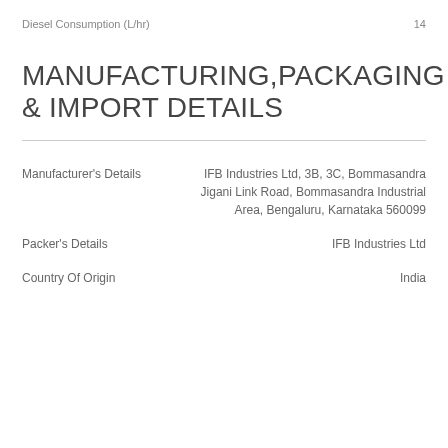Diesel Consumption (L/hr)    14
MANUFACTURING,PACKAGING & IMPORT DETAILS
Manufacturer's Details    IFB Industries Ltd, 3B, 3C, Bommasandra Jigani Link Road, Bommasandra Industrial Area, Bengaluru, Karnataka 560099
Packer's Details    IFB Industries Ltd
Country Of Origin    India